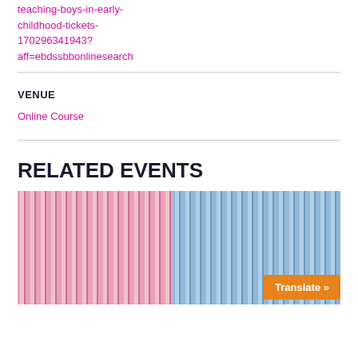teaching-boys-in-early-childhood-tickets-170296341943?aff=ebdssbbonlinesearch
VENUE
Online Course
RELATED EVENTS
[Figure (photo): Pink and blue knitted baby items side by side, with a translate button in the bottom right corner]